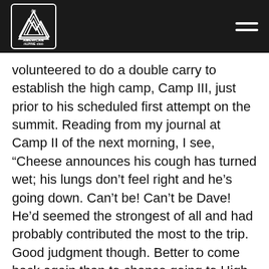The American Alpine Club
volunteered to do a double carry to establish the high camp, Camp III, just prior to his scheduled first attempt on the summit. Reading from my journal at Camp II of the next morning, I see, “Cheese announces his cough has turned wet; his lungs don’t feel right and he’s going down. Can’t be! Can’t be Dave! He’d seemed the strongest of all and had probably contributed the most to the trip. Good judgment though. Better to come back again than to chance going to High Camp with HAPE. I admire his ability to make a difficult decision.”
Dave went back down, recovered, came back up and was headed for the top before the last summit team was stopped by a snowstorm. Dave’s contributions on Everest were more than just physical. His analytic engineering skills had helped with the design of the gravity winch, in my